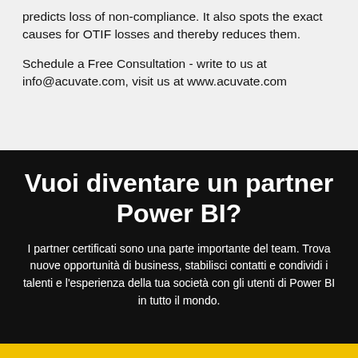predicts loss of non-compliance. It also spots the exact causes for OTIF losses and thereby reduces them.
Schedule a Free Consultation - write to us at info@acuvate.com, visit us at www.acuvate.com
Vuoi diventare un partner Power BI?
I partner certificati sono una parte importante del team. Trova nuove opportunità di business, stabilisci contatti e condividi i talenti e l'esperienza della tua società con gli utenti di Power BI in tutto il mondo.